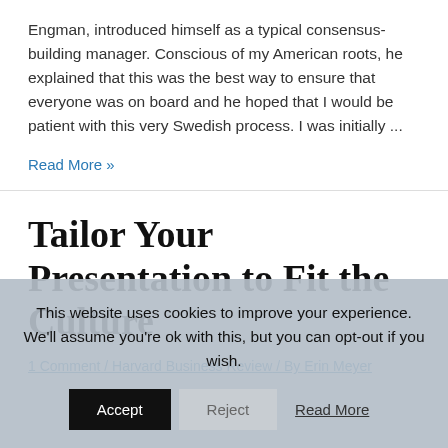Engman, introduced himself as a typical consensus-building manager. Conscious of my American roots, he explained that this was the best way to ensure that everyone was on board and he hoped that I would be patient with this very Swedish process. I was initially ...
Read More »
Tailor Your Presentation to Fit the Culture
1 Comment / Harvard Business Review / By Erin Meyer
This website uses cookies to improve your experience. We'll assume you're ok with this, but you can opt-out if you wish.